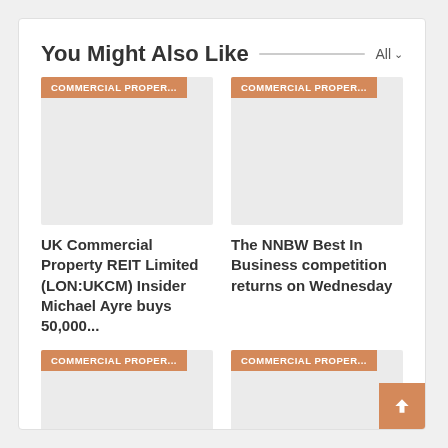You Might Also Like
[Figure (screenshot): Card with orange tag 'COMMERCIAL PROPER...' and grey placeholder image]
[Figure (screenshot): Card with orange tag 'COMMERCIAL PROPER...' and grey placeholder image]
UK Commercial Property REIT Limited (LON:UKCM) Insider Michael Ayre buys 50,000...
The NNBW Best In Business competition returns on Wednesday
[Figure (screenshot): Card with orange tag 'COMMERCIAL PROPER...' and grey placeholder image]
[Figure (screenshot): Card with orange tag 'COMMERCIAL PROPER...' and grey placeholder image]